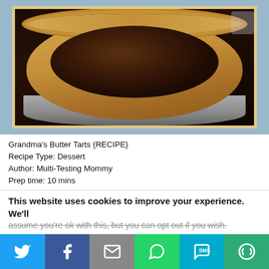[Figure (photo): Photo of Grandma's Butter Tarts — a baked pie with crimped golden crust edge and dark brown filling, sitting on a dark surface]
Grandma's Butter Tarts {RECIPE}
Recipe Type: Dessert
Author: Multi-Testing Mommy
Prep time: 10 mins
Cook time: 20 mins
Total time: 30 mins
These are my Grandmother's Butter Tarts. I made them the very first time I was left alone for the summer, when I was in
This website uses cookies to improve your experience. We'll assume you're ok with this, but you can opt out if you wish.